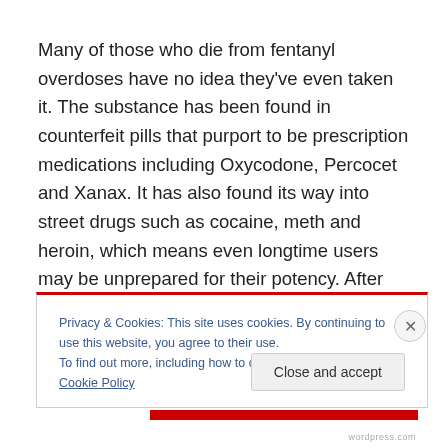Many of those who die from fentanyl overdoses have no idea they've even taken it. The substance has been found in counterfeit pills that purport to be prescription medications including Oxycodone, Percocet and Xanax. It has also found its way into street drugs such as cocaine, meth and heroin, which means even longtime users may be unprepared for their potency. After the death of The
Privacy & Cookies: This site uses cookies. By continuing to use this website, you agree to their use.
To find out more, including how to control cookies, see here: Cookie Policy